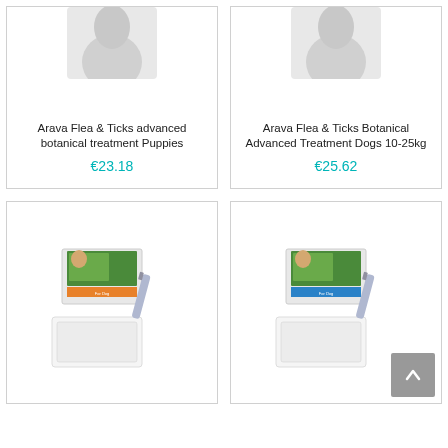[Figure (photo): Product image of Arava Flea & Ticks advanced botanical treatment Puppies (partially cropped at top)]
Arava Flea & Ticks advanced botanical treatment Puppies
€23.18
[Figure (photo): Product image of Arava Flea & Ticks Botanical Advanced Treatment Dogs 10-25kg (partially cropped at top)]
Arava Flea & Ticks Botanical Advanced Treatment Dogs 10-25kg
€25.62
[Figure (photo): Product image showing Arava flea treatment box and application pipettes/tubes – orange label variant]
[Figure (photo): Product image showing Arava flea treatment box and application pipettes/tubes – blue label variant]